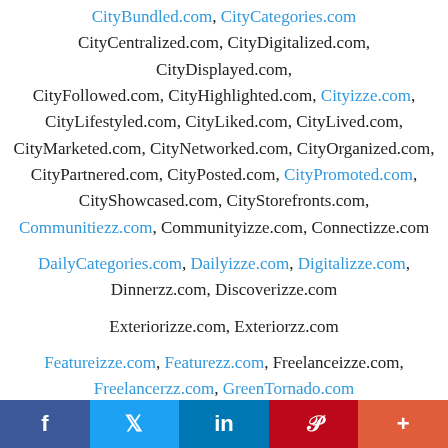CityBundled.com, CityCategories.com CityCentralized.com, CityDigitalized.com, CityDisplayed.com, CityFollowed.com, CityHighlighted.com, Cityizze.com, CityLifestyled.com, CityLiked.com, CityLived.com, CityMarketed.com, CityNetworked.com, CityOrganized.com, CityPartnered.com, CityPosted.com, CityPromoted.com, CityShowcased.com, CityStorefronts.com, Communitiezz.com, Communityizze.com, Connectizze.com
DailyCategories.com, Dailyizze.com, Digitalizze.com, Dinnerzz.com, Discoverizze.com
Exteriorizze.com, Exteriorzz.com
Featureizze.com, Featurezz.com, Freelanceizze.com, Freelancerzz.com, GreenTornado.com
Homeizze.com, HomeRepairzz.com, HomeServicezz.com